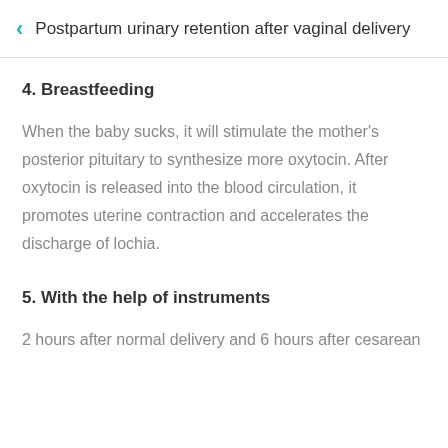Postpartum urinary retention after vaginal delivery
4. Breastfeeding
When the baby sucks, it will stimulate the mother's posterior pituitary to synthesize more oxytocin. After oxytocin is released into the blood circulation, it promotes uterine contraction and accelerates the discharge of lochia.
5. With the help of instruments
2 hours after normal delivery and 6 hours after cesarean